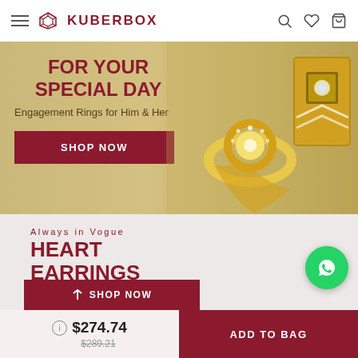KUBERBOX
[Figure (photo): Banner with engagement rings on golden background. FOR YOUR SPECIAL DAY - Engagement Rings for Him & Her. SHOP NOW button.]
Always in Vogue
HEART EARRINGS
Studded Diamond Darlings for You
SHOP NOW
[Figure (logo): WhatsApp green circular button]
$274.74
$289.21
ADD TO BAG